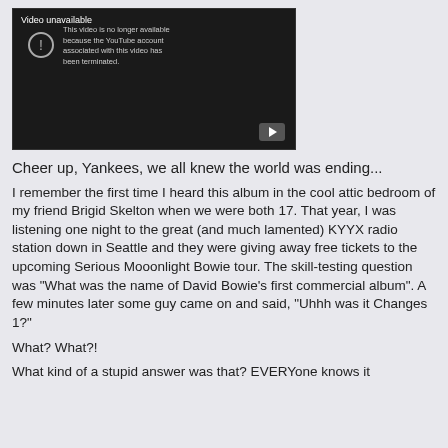[Figure (screenshot): YouTube video unavailable screenshot showing dark player with error icon and message: 'Video unavailable. This video is no longer available because the YouTube account associated with this video has been terminated.' A play button icon is visible at the bottom right.]
Cheer up, Yankees, we all knew the world was ending...
I remember the first time I heard this album in the cool attic bedroom of my friend Brigid Skelton when we were both 17. That year, I was listening one night to the great (and much lamented) KYYX radio station down in Seattle and they were giving away free tickets to the upcoming Serious Mooonlight Bowie tour. The skill-testing question was "What was the name of David Bowie's first commercial album". A few minutes later some guy came on and said, "Uhhh was it Changes 1?"
What? What?!
What kind of a stupid answer was that? EVERYone knows it